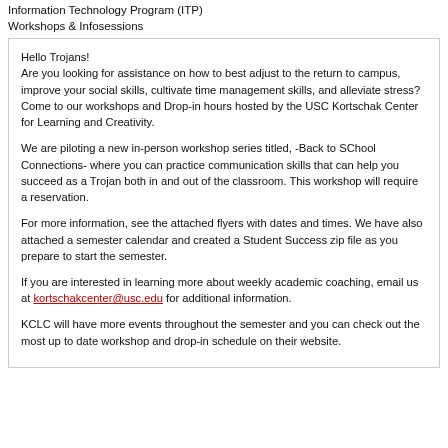Information Technology Program (ITP)
Workshops & Infosessions
Hello Trojans!
Are you looking for assistance on how to best adjust to the return to campus, improve your social skills, cultivate time management skills, and alleviate stress? Come to our workshops and Drop-in hours hosted by the USC Kortschak Center for Learning and Creativity.

We are piloting a new in-person workshop series titled, -Back to SChool Connections- where you can practice communication skills that can help you succeed as a Trojan both in and out of the classroom. This workshop will require a reservation.

For more information, see the attached flyers with dates and times. We have also attached a semester calendar and created a Student Success zip file as you prepare to start the semester.

If you are interested in learning more about weekly academic coaching, email us at kortschakcenter@usc.edu for additional information.

KCLC will have more events throughout the semester and you can check out the most up to date workshop and drop-in schedule on their website.